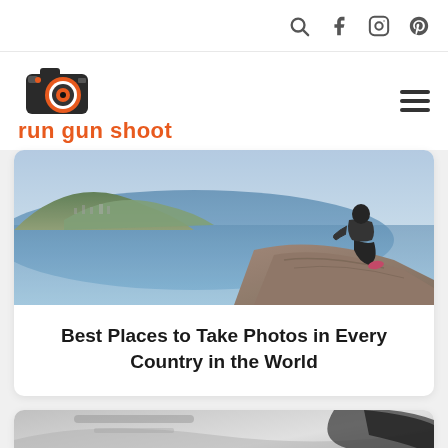Navigation icons: search, facebook, instagram, pinterest
[Figure (logo): Run Gun Shoot logo — camera icon with orange circle lens and text 'run gun shoot' in orange below]
[Figure (photo): Person sitting on rocky cliff edge overlooking a coastal city/bay from high elevation, wearing dark athletic clothing and colorful sneakers]
Best Places to Take Photos in Every Country in the World
[Figure (photo): Partial image of a second article, appears to show a blurred close-up of a car or mechanical object in black and white/gray tones]